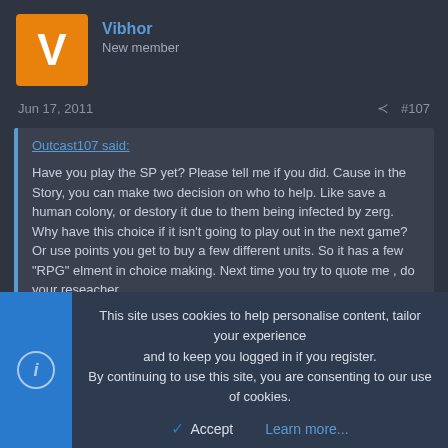Vibhor
New member
Jun 17, 2011  #107
Outcast107 said:

Have you play the SP yet? Please tell me if you did. Cause in the Story, you can make two decision on who to help. Like save a human colony, or destory it due to them being infected by zerg. Why have this choice if it isn't going to play out in the next game? Or use points you get to buy a few different units. So it has a few "RPG" elment in choice making. Next time you try to quote me , do your reseacher.
CHOICES ARE NOT EXCLUSIVE TO RPG DAMMIT!
This site uses cookies to help personalise content, tailor your experience and to keep you logged in if you register.
By continuing to use this site, you are consenting to our use of cookies.
Accept  Learn more...